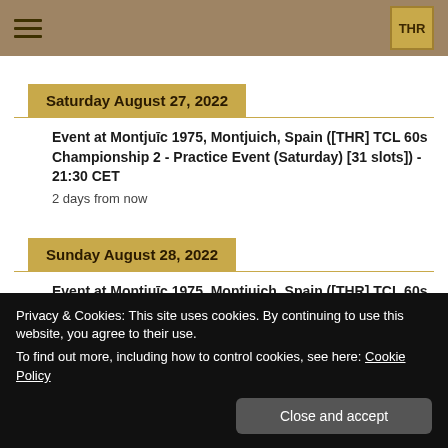THR
Saturday August 27, 2022
Event at Montjuīc 1975, Montjuich, Spain ([THR] TCL 60s Championship 2 - Practice Event (Saturday) [31 slots]) - 21:30 CET
2 days from now
Sunday August 28, 2022
Event at Montjuīc 1975, Montjuich, Spain ([THR] TCL 60s Championship 2 - Main Event (Sunday) [31 slots]) - 21:30 CET
Privacy & Cookies: This site uses cookies. By continuing to use this website, you agree to their use.
To find out more, including how to control cookies, see here: Cookie Policy
Close and accept